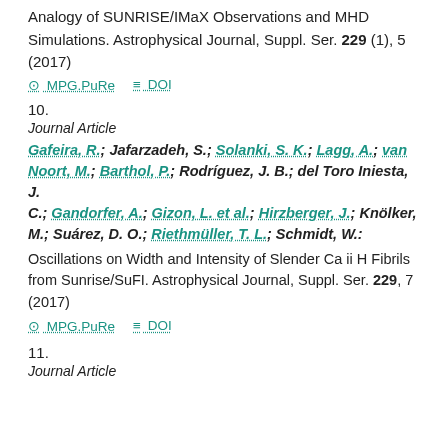Analogy of SUNRISE/IMaX Observations and MHD Simulations. Astrophysical Journal, Suppl. Ser. 229 (1), 5 (2017)
MPG.PuRe   DOI
10.
Journal Article
Gafeira, R.; Jafarzadeh, S.; Solanki, S. K.; Lagg, A.; van Noort, M.; Barthol, P.; Rodríguez, J. B.; del Toro Iniesta, J. C.; Gandorfer, A.; Gizon, L. et al.; Hirzberger, J.; Knölker, M.; Suárez, D. O.; Riethmüller, T. L.; Schmidt, W.:
Oscillations on Width and Intensity of Slender Ca ii H Fibrils from Sunrise/SuFI. Astrophysical Journal, Suppl. Ser. 229, 7 (2017)
MPG.PuRe   DOI
11.
Journal Article